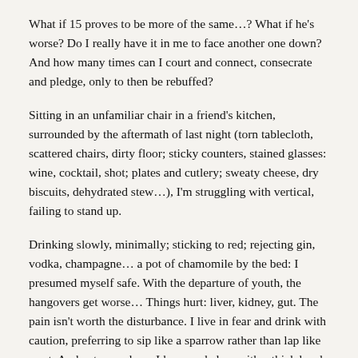What if 15 proves to be more of the same…? What if he's worse? Do I really have it in me to face another one down? And how many times can I court and connect, consecrate and pledge, only to then be rebuffed?
Sitting in an unfamiliar chair in a friend's kitchen, surrounded by the aftermath of last night (torn tablecloth, scattered chairs, dirty floor; sticky counters, stained glasses: wine, cocktail, shot; plates and cutlery; sweaty cheese, dry biscuits, dehydrated stew…), I'm struggling with vertical, failing to stand up.
Drinking slowly, minimally; sticking to red; rejecting gin, vodka, champagne… a pot of chamomile by the bed: I presumed myself safe. With the departure of youth, the hangovers get worse… Things hurt: liver, kidney, gut. The pain isn't worth the disturbance. I live in fear and drink with caution, preferring to sip like a sparrow rather than lap like a cat. And yet, somehow, I have ended up with a thick head and